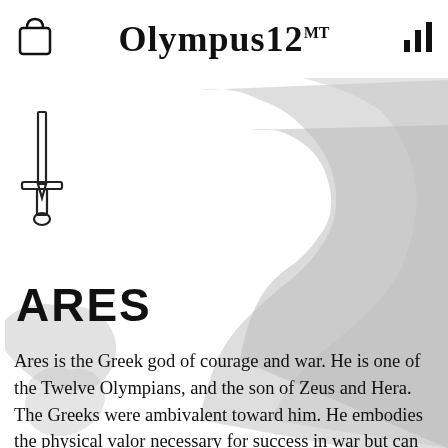Olympus12 MT
[Figure (illustration): Gray silhouette map of Greece/Aegean region as background image]
[Figure (illustration): Sword icon on left side]
ARES
Ares is the Greek god of courage and war. He is one of the Twelve Olympians, and the son of Zeus and Hera. The Greeks were ambivalent toward him. He embodies the physical valor necessary for success in war but can also personify sheer brutality and bloodlust, in contrast to his sister, the armored Athena, whose martial functions include military